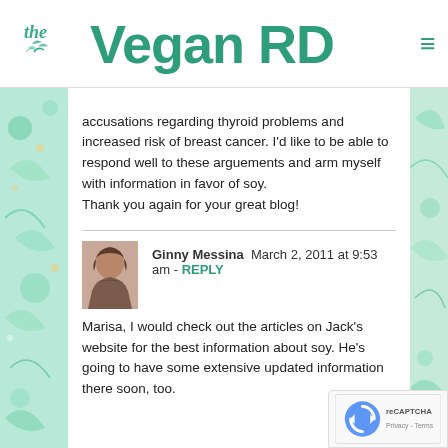[Figure (logo): The Vegan RD logo with teal leaf icon and hamburger menu icon]
accusations regarding thyroid problems and increased risk of breast cancer. I'd like to be able to respond well to these arguements and arm myself with information in favor of soy.
Thank you again for your great blog!
Ginny Messina  March 2, 2011 at 9:53 am - REPLY
Marisa, I would check out the articles on Jack's website for the best information about soy. He's going to have some extensive updated information there soon, too.